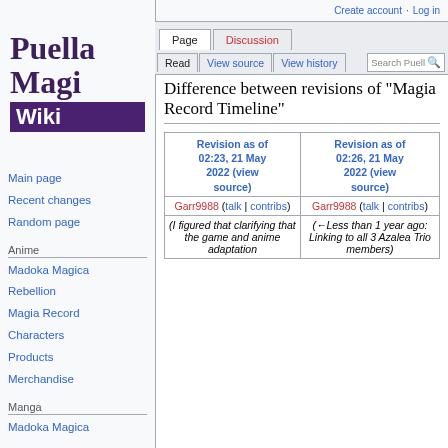Create account  Log in
Puella Magi Wiki
Main page
Recent changes
Random page
Anime
Madoka Magica
Rebellion
Magia Record
Characters
Products
Merchandise
Manga
Madoka Magica
Difference between revisions of "Magia Record Timeline"
| Revision as of 02:23, 21 May 2022 (view source) | Revision as of 02:26, 21 May 2022 (view source) |
| --- | --- |
| Garr9988 (talk | contribs) | Garr9988 (talk | contribs) |
| (I figured that clarifying that the game and anime adaptation | (←Less than 1 year ago: Linking to all 3 Azalea Trio members) |